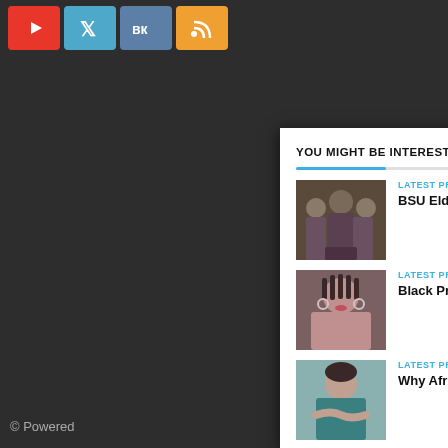[Figure (screenshot): Social media icon bar with YouTube (red), Twitter (blue), VK (steel blue), RSS (orange) icons]
© Powered
YOU MIGHT BE INTERESTED
[Figure (photo): Group of BSU elders holding plaques]
LATEST PRGNEWS
BSU Elders Offer Tribute to EOP Beginnings
[Figure (photo): Portrait of a woman with braided hair and hoop earrings]
LATEST PRGNEWS
Black Press Honors Black Lives Matter Founder
[Figure (photo): Portrait of a woman in a teal sleeveless top with crossed arms]
LATEST PRGNEWS
Why African Americans Need to Take the COVID-19 Vaccine